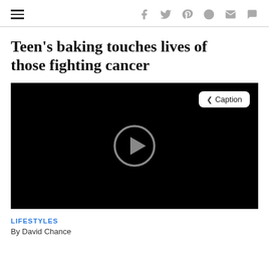Navigation and social share icons (hamburger menu, Facebook, Twitter, Pinterest, Reddit, Email, Comment)
Teen's baking touches lives of those fighting cancer
[Figure (screenshot): Black video player with a gray circular play button in the center and a white 'Caption' button with left chevron in the upper right corner]
LIFESTYLES
By David Chance